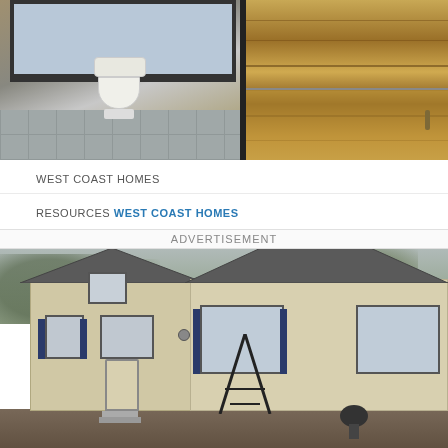[Figure (photo): Top image: split photo showing a bathroom with toilet on the left and wood grain countertop/cabinet on the right]
WEST COAST HOMES
RESOURCES WEST COAST HOMES
ADVERTISEMENT
[Figure (photo): Exterior photo of a small park model home with beige siding, dark blue shutters, peaked roof with dark shingles, front steps, and an A-frame antenna stand in front. Bare winter trees visible in background.]
Look inside this cozy park model – it's hard